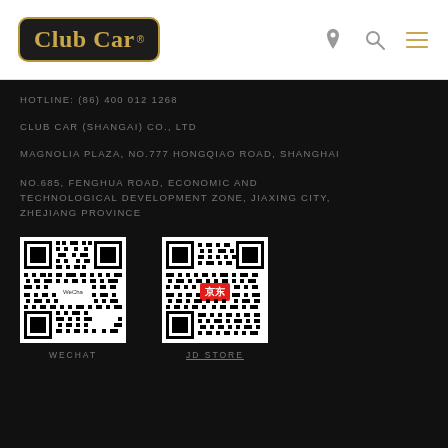[Figure (logo): Club Car logo in gold text on black rounded rectangle background]
[Figure (infographic): Navigation icons: location pin, search/magnifying glass, hamburger menu — all in gray]
HOTLINE: (86) 400 012 1268
CLUB CAR (SHANGAI) CO., LTD
MAGNOLIA PLAZA, NO.777 HONGQIAO ROAD, SHANGHAI
NO.685, FENGHUA ROAD, ECONOMIC AND TECHNOLOGICAL DEVELOPMENT ZONE, JIAXING CITY, ZHEJIANG PROVINCE
[Figure (illustration): WeChat QR code — black and white square QR code with small centered label]
WECHAT
[Figure (illustration): JD Store QR code — black and white square QR code with red JD logo in center]
JD STORE